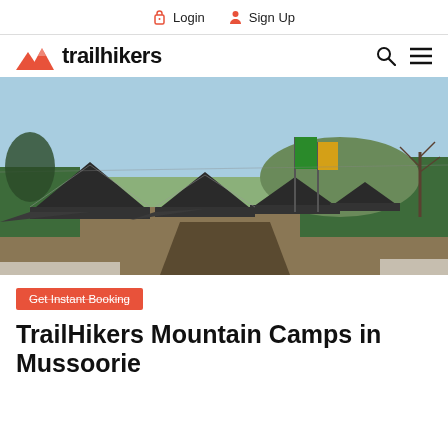Login  Sign Up
[Figure (logo): Trailhikers logo with orange mountain icon and bold text 'trailhikers']
[Figure (photo): Mountain campsite with dark green military tents lined up along a dirt path, green and yellow flags on poles, trees and hills in background under clear blue sky]
Get Instant Booking
TrailHikers Mountain Camps in Mussoorie